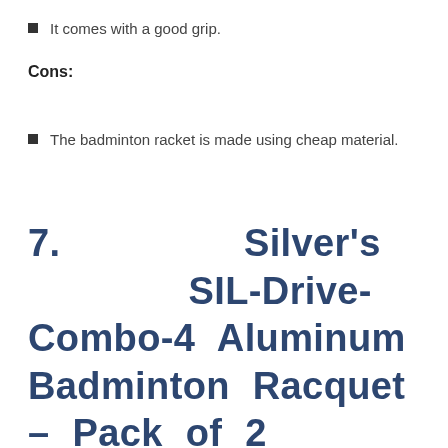It comes with a good grip.
Cons:
The badminton racket is made using cheap material.
7.        Silver's        SIL-Drive-Combo-4 Aluminum Badminton Racquet – Pack of 2